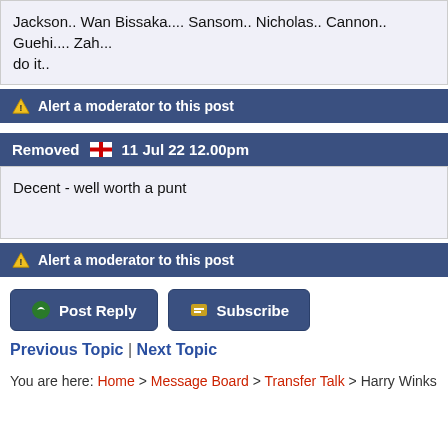Jackson.. Wan Bissaka.... Sansom.. Nicholas.. Cannon.. Guehi.... Zah... do it..
⚠ Alert a moderator to this post
Removed 🏴󠁧󠁢󠁥󠁮󠁧󠁿 11 Jul 22 12.00pm
Decent - well worth a punt
⚠ Alert a moderator to this post
Post Reply | Subscribe
Previous Topic | Next Topic
You are here: Home > Message Board > Transfer Talk > Harry Winks